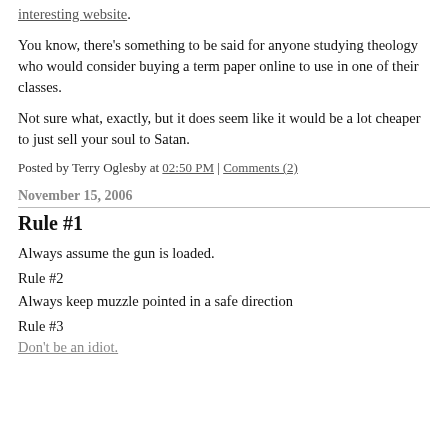interesting website.
You know, there's something to be said for anyone studying theology who would consider buying a term paper online to use in one of their classes.
Not sure what, exactly, but it does seem like it would be a lot cheaper to just sell your soul to Satan.
Posted by Terry Oglesby at 02:50 PM | Comments (2)
November 15, 2006
Rule #1
Always assume the gun is loaded.
Rule #2
Always keep muzzle pointed in a safe direction
Rule #3
Don't be an idiot.